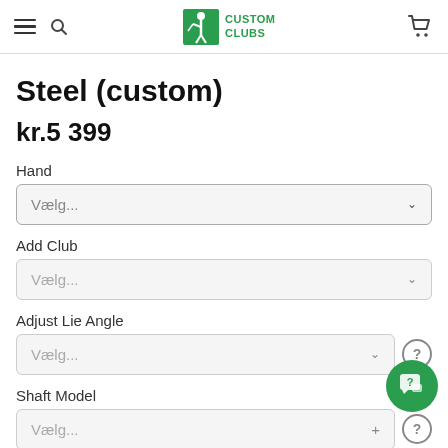Custom Clubs - navigation header with hamburger, search, logo and cart
Steel (custom)
kr.5 399
Hand
Vælg...
Add Club
Vælg...
Adjust Lie Angle
Vælg...
Shaft Model
Vælg...